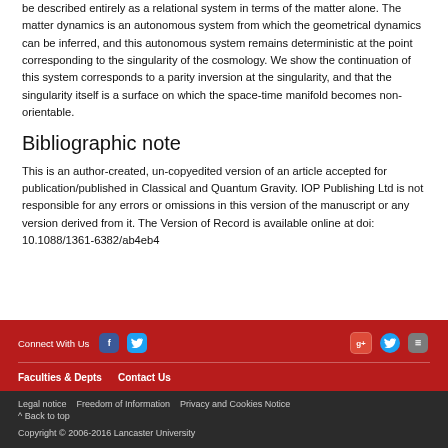be described entirely as a relational system in terms of the matter alone. The matter dynamics is an autonomous system from which the geometrical dynamics can be inferred, and this autonomous system remains deterministic at the point corresponding to the singularity of the cosmology. We show the continuation of this system corresponds to a parity inversion at the singularity, and that the singularity itself is a surface on which the space-time manifold becomes non-orientable.
Bibliographic note
This is an author-created, un-copyedited version of an article accepted for publication/published in Classical and Quantum Gravity. IOP Publishing Ltd is not responsible for any errors or omissions in this version of the manuscript or any version derived from it. The Version of Record is available online at doi: 10.1088/1361-6382/ab4eb4
Connect With Us | Faculties & Depts | Contact Us | Legal notice | Freedom of Information | Privacy and Cookies Notice | ^ Back to top | Copyright © 2006-2016 Lancaster University